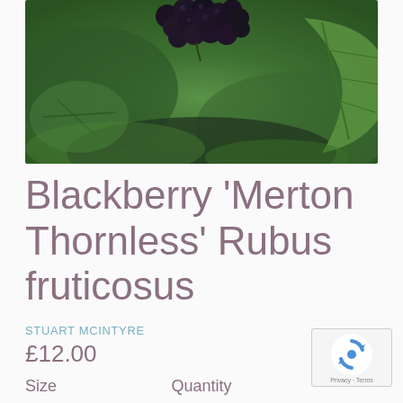[Figure (photo): Close-up photograph of ripe blackberries (dark purple/black clusters) on a plant with green leaves, set against a blurred green leafy background]
Blackberry 'Merton Thornless' Rubus fruticosus
STUART MCINTYRE
£12.00
Size
Quantity